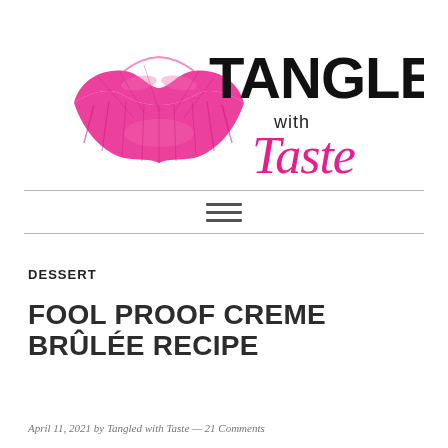[Figure (logo): Tangled with Taste logo featuring a hot pink lipstick kiss mark on the left, bold black text 'TANGLED' in large letters, with 'with' in small black sans-serif and 'Taste' in pink cursive script]
[Figure (other): Navigation bar with horizontal divider lines and a three-line hamburger menu icon in the center]
DESSERT
FOOL PROOF CREME BRÛLÉE RECIPE
April 11, 2021 by Tangled with Taste — 21 Comments